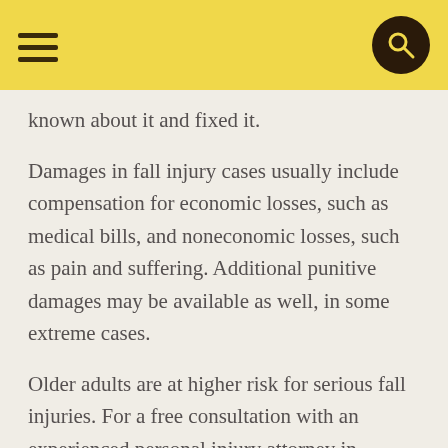[hamburger menu icon] [search icon]
known about it and fixed it.
Damages in fall injury cases usually include compensation for economic losses, such as medical bills, and noneconomic losses, such as pain and suffering. Additional punitive damages may be available as well, in some extreme cases.
Older adults are at higher risk for serious fall injuries. For a free consultation with an experienced personal injury attorney in Weatherford, contact Herreth Law. We do not